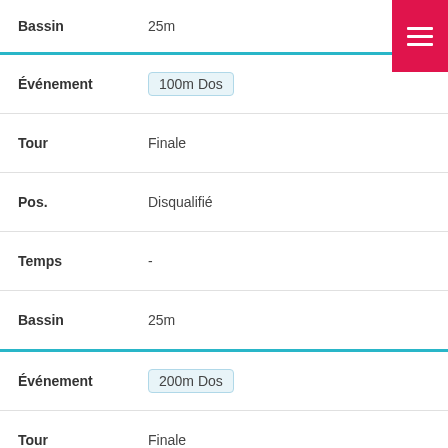| Field | Value |
| --- | --- |
| Bassin | 25m |
| Événement | 100m Dos |
| Tour | Finale |
| Pos. | Disqualifié |
| Temps | - |
| Bassin | 25m |
| Événement | 200m Dos |
| Tour | Finale |
| Pos. | 117 |